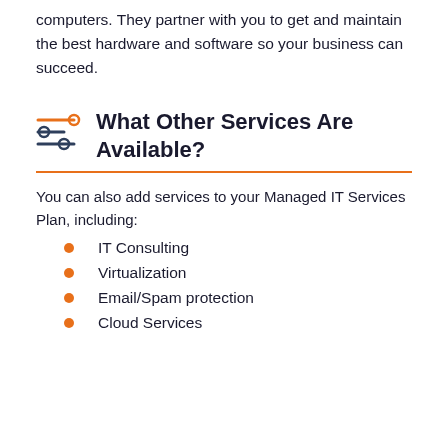computers. They partner with you to get and maintain the best hardware and software so your business can succeed.
What Other Services Are Available?
You can also add services to your Managed IT Services Plan, including:
IT Consulting
Virtualization
Email/Spam protection
Cloud Services